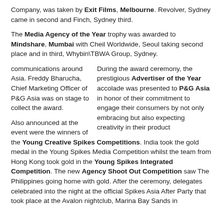Company, was taken by Exit Films, Melbourne. Revolver, Sydney came in second and Finch, Sydney third.
The Media Agency of the Year trophy was awarded to Mindshare, Mumbai with Cheil Worldwide, Seoul taking second place and in third, Whybin\TBWA Group, Sydney.
During the award ceremony, the prestigious Advertiser of the Year accolade was presented to P&G Asia in honor of their commitment to engage their consumers by not only embracing but also expecting creativity in their product communications around Asia. Freddy Bharucha, Chief Marketing Officer of P&G Asia was on stage to collect the award.
Also announced at the event were the winners of the Young Creative Spikes Competitions. India took the gold medal in the Young Spikes Media Competition whilst the team from Hong Kong took gold in the Young Spikes Integrated Competition. The new Agency Shoot Out Competition saw The Philippines going home with gold. After the ceremony, delegates celebrated into the night at the official Spikes Asia After Party that took place at the Avalon nightclub, Marina Bay Sands in